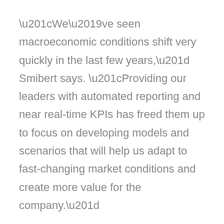“We’ve seen macroeconomic conditions shift very quickly in the last few years,” Smibert says. “Providing our leaders with automated reporting and near real-time KPIs has freed them up to focus on developing models and scenarios that will help us adapt to fast-changing market conditions and create more value for the company.”
To stay ahead in the turbulent business landscape, NOVA